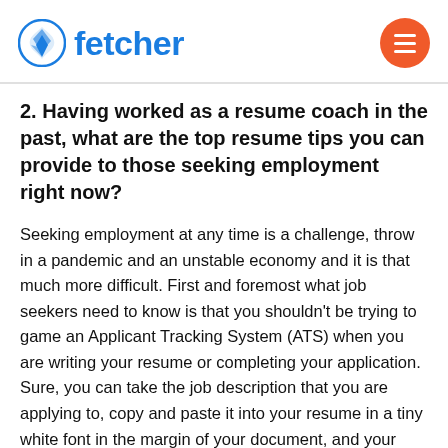fetcher
2. Having worked as a resume coach in the past, what are the top resume tips you can provide to those seeking employment right now?
Seeking employment at any time is a challenge, throw in a pandemic and an unstable economy and it is that much more difficult. First and foremost what job seekers need to know is that you shouldn't be trying to game an Applicant Tracking System (ATS) when you are writing your resume or completing your application. Sure, you can take the job description that you are applying to, copy and paste it into your resume in a tiny white font in the margin of your document, and your application may be a highly rated match, but the expectation will be that